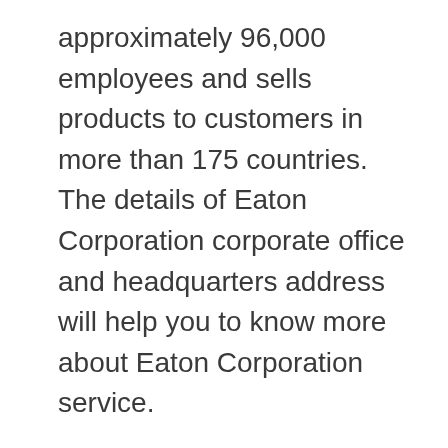approximately 96,000 employees and sells products to customers in more than 175 countries. The details of Eaton Corporation corporate office and headquarters address will help you to know more about Eaton Corporation service.